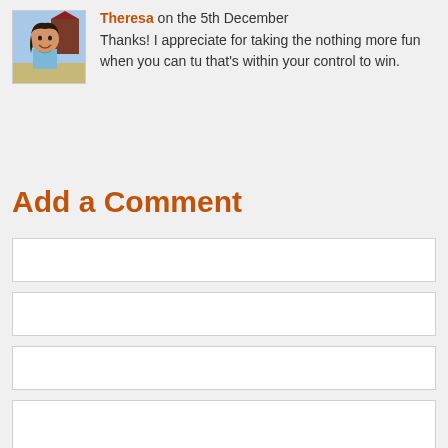[Figure (photo): Avatar photo of a smiling woman outdoors]
Theresa on the 5th December
Thanks! I appreciate for taking the nothing more fun when you can tu that's within your control to win.
Add a Comment
[form fields: text input boxes for adding a comment]